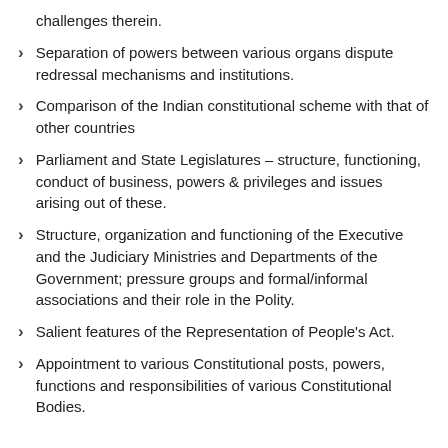challenges therein.
Separation of powers between various organs dispute redressal mechanisms and institutions.
Comparison of the Indian constitutional scheme with that of other countries
Parliament and State Legislatures – structure, functioning, conduct of business, powers & privileges and issues arising out of these.
Structure, organization and functioning of the Executive and the Judiciary Ministries and Departments of the Government; pressure groups and formal/informal associations and their role in the Polity.
Salient features of the Representation of People's Act.
Appointment to various Constitutional posts, powers, functions and responsibilities of various Constitutional Bodies.